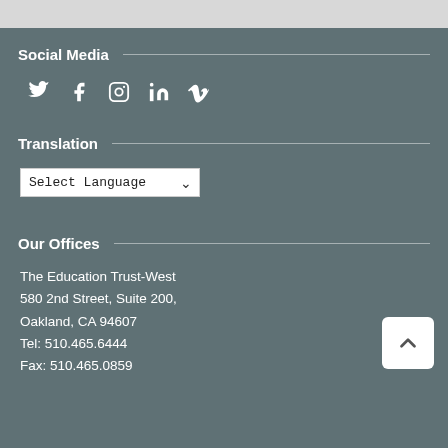Social Media
[Figure (illustration): Social media icons: Twitter, Facebook, Instagram, LinkedIn, Vimeo]
Translation
Select Language (dropdown)
Our Offices
The Education Trust-West
580 2nd Street, Suite 200,
Oakland, CA 94607
Tel: 510.465.6444
Fax: 510.465.0859